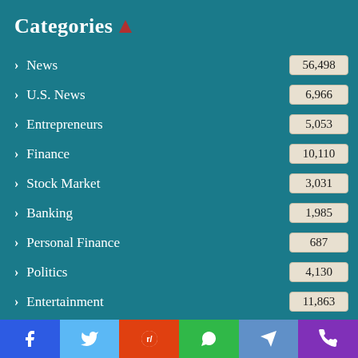Categories
> News  56,498
> U.S. News  6,966
> Entrepreneurs  5,053
> Finance  10,110
> Stock Market  3,031
> Banking  1,985
> Personal Finance  687
> Politics  4,130
> Entertainment  11,863
> Celebrity News  3,064
> TV News  2,4...